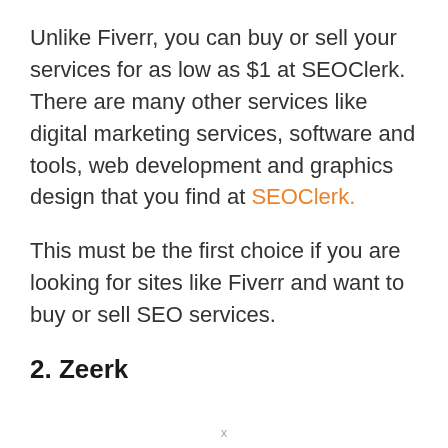Unlike Fiverr, you can buy or sell your services for as low as $1 at SEOClerk. There are many other services like digital marketing services, software and tools, web development and graphics design that you find at SEOClerk.
This must be the first choice if you are looking for sites like Fiverr and want to buy or sell SEO services.
2. Zeerk